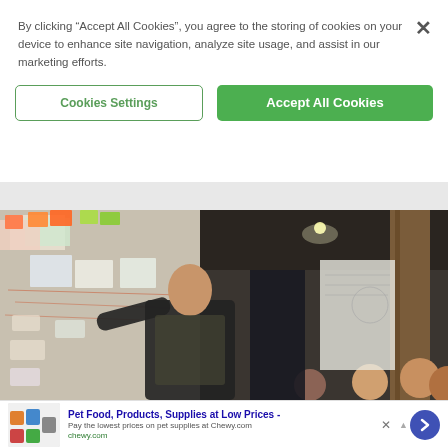By clicking “Accept All Cookies”, you agree to the storing of cookies on your device to enhance site navigation, analyze site usage, and assist in our marketing efforts.
Cookies Settings
Accept All Cookies
[Figure (photo): A man in a blazer pointing at a whiteboard covered with sticky notes and papers, presenting to a group of people in a warehouse-style room with exposed brick and wooden beams.]
Pet Food, Products, Supplies at Low Prices - Pay the lowest prices on pet supplies at Chewy.com chewy.com